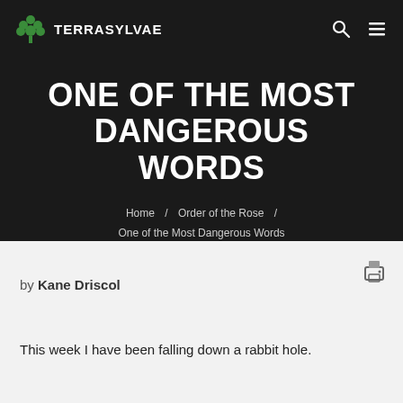TERRASYLVAE
ONE OF THE MOST DANGEROUS WORDS
Home / Order of the Rose / One of the Most Dangerous Words
by Kane Driscol
This week I have been falling down a rabbit hole.